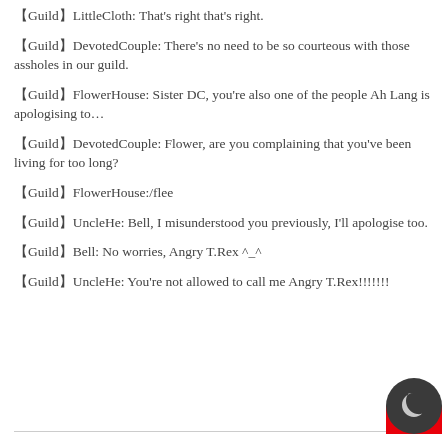【Guild】LittleCloth: That's right that's right.
【Guild】DevotedCouple: There's no need to be so courteous with those assholes in our guild.
【Guild】FlowerHouse: Sister DC, you're also one of the people Ah Lang is apologising to…
【Guild】DevotedCouple: Flower, are you complaining that you've been living for too long?
【Guild】FlowerHouse:/flee
【Guild】UncleHe: Bell, I misunderstood you previously, I'll apologise too.
【Guild】Bell: No worries, Angry T.Rex ^_^
【Guild】UncleHe: You're not allowed to call me Angry T.Rex!!!!!!!